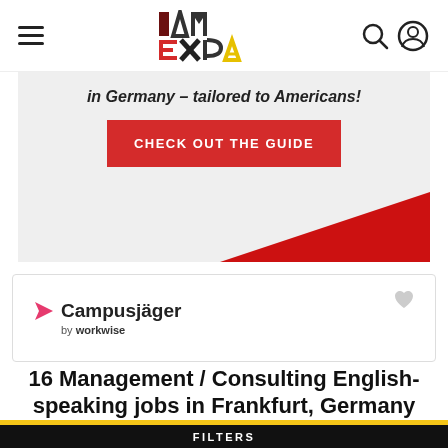I AM EXPAT — navigation header with hamburger menu, logo, search and user icons
[Figure (infographic): Advertisement banner: 'in Germany – tailored to Americans!' with red 'CHECK OUT THE GUIDE' button and red diagonal triangle decoration]
[Figure (logo): Campusjäger by workwise logo card with heart/favorite icon]
16  Management / Consulting English-speaking jobs in Frankfurt, Germany
FILTERS